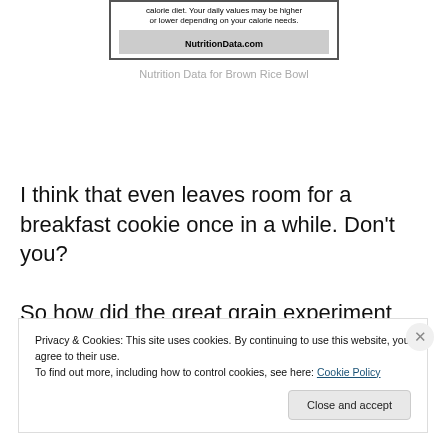[Figure (screenshot): Partial screenshot of a NutritionData.com nutrition label showing calorie diet text and NutritionData.com branding in a bordered box]
Nutrition Data for Brown Rice Bowl
I think that even leaves room for a breakfast cookie once in a while. Don’t you?
So how did the great grain experiment go? Well, sadly, though I found this breakfast to be satisfying, delicious and
Privacy & Cookies: This site uses cookies. By continuing to use this website, you agree to their use.
To find out more, including how to control cookies, see here: Cookie Policy
Close and accept